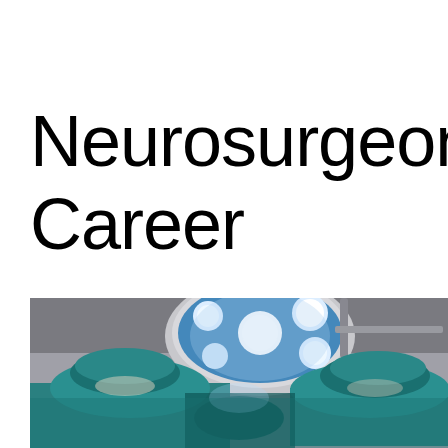Neurosurgeon Career
[Figure (photo): Two surgeons in teal surgical scrubs and caps performing a procedure in an operating room, viewed from below, with a large circular surgical light with multiple bright white and blue LED bulbs visible overhead.]